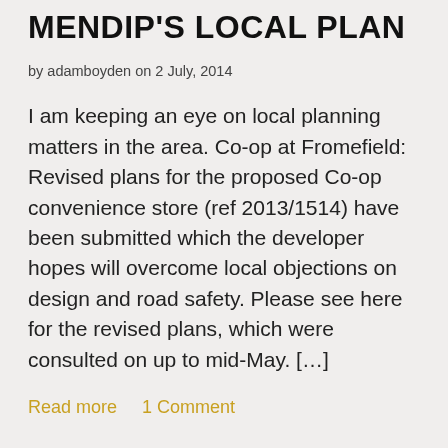MENDIP'S LOCAL PLAN
by adamboyden on 2 July, 2014
I am keeping an eye on local planning matters in the area. Co-op at Fromefield: Revised plans for the proposed Co-op convenience store (ref 2013/1514) have been submitted which the developer hopes will overcome local objections on design and road safety. Please see here for the revised plans, which were consulted on up to mid-May. […]
Read more    1 Comment